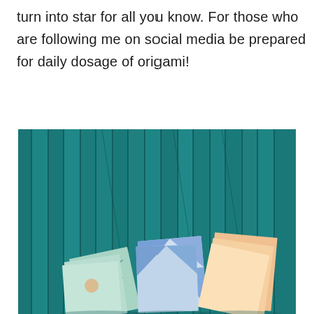The possibilities are endless, regular blanket could turn into star for all you know. For those who are following me on social media be prepared for daily dosage of origami!
[Figure (photo): Photo of colorful patterned origami paper squares arranged at the bottom against a teal/dark cyan wooden slatted wall background. The origami papers have geometric and abstract patterns in mint green, orange, blue, and peach colors.]